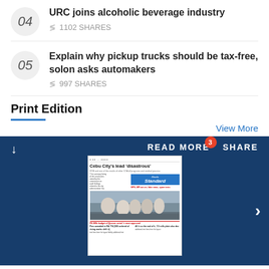04 URC joins alcoholic beverage industry — 1102 SHARES
05 Explain why pickup trucks should be tax-free, solon asks automakers — 997 SHARES
Print Edition
View More
[Figure (screenshot): Dark blue panel showing a newspaper front page of Manila Standard with headline 'Cebu City's lead disastrous', with toolbar showing READ MORE (with badge 3), SHARE, and download icon, and a right chevron navigation arrow]